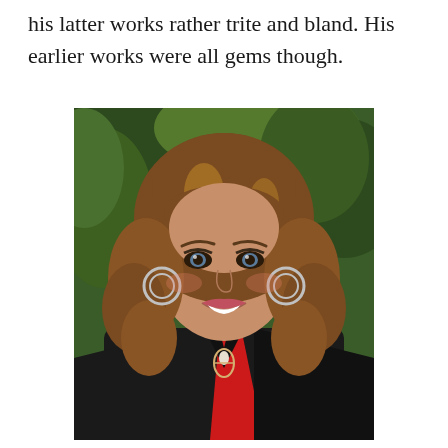his latter works rather trite and bland. His earlier works were all gems though.
[Figure (photo): Portrait photograph of a woman with voluminous auburn/brown wavy hair, wearing a black blazer with a red accent, a black v-neck top, and a teardrop pendant necklace with large hoop earrings. She is smiling at the camera against a green foliage background.]